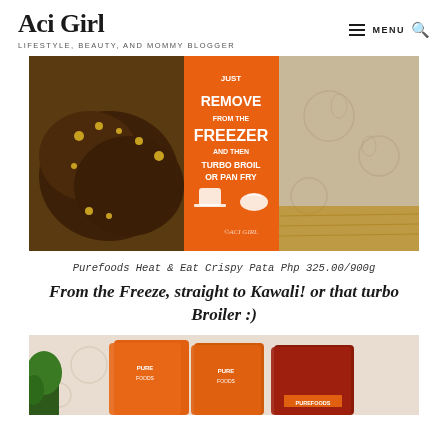Aci Girl — LIFESTYLE, BEAUTY, AND MOMMY BLOGGER
[Figure (photo): Product packaging photo showing Purefoods Heat & Eat Crispy Pata. Orange label reads: JUST REMOVE FROM THE FREEZER AND THEN TURBO BROIL OR PAN FRY, with icons of cooking appliances. Watermark: ©ACI GIRL.]
Purefoods Heat & Eat Crispy Pata Php 325.00/900g
From the Freeze, straight to Kawali! or that turbo Broiler :)
[Figure (photo): Multiple orange Purefoods product packages arranged on a floral tablecloth, with a plant visible on the left.]